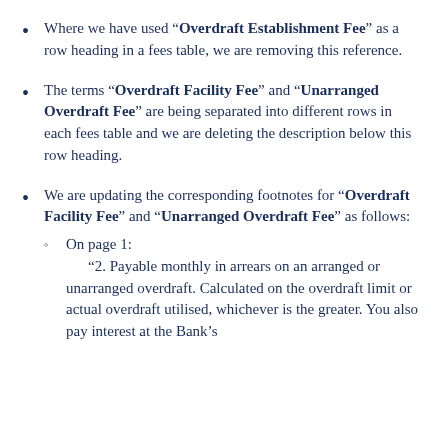Where we have used “Overdraft Establishment Fee” as a row heading in a fees table, we are removing this reference.
The terms “Overdraft Facility Fee” and “Unarranged Overdraft Fee” are being separated into different rows in each fees table and we are deleting the description below this row heading.
We are updating the corresponding footnotes for “Overdraft Facility Fee” and “Unarranged Overdraft Fee” as follows:
On page 1:
“2. Payable monthly in arrears on an arranged or unarranged overdraft. Calculated on the overdraft limit or actual overdraft utilised, whichever is the greater. You also pay interest at the Bank’s